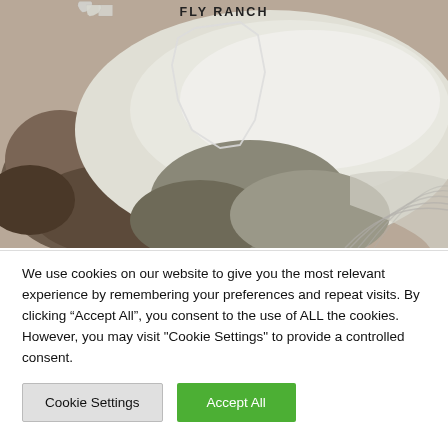[Figure (map): Satellite aerial map image showing Fly Ranch area in Nevada. Labels visible: 'FLY RANCH' at top center, 'NEVADA' in upper right corner, 'BLACK ROCK CITY' in lower right area. A white polygon outlines the Fly Ranch property. The landscape shows a dry desert/playa environment with dark rocky terrain and white salt flat areas.]
We use cookies on our website to give you the most relevant experience by remembering your preferences and repeat visits. By clicking “Accept All”, you consent to the use of ALL the cookies. However, you may visit "Cookie Settings" to provide a controlled consent.